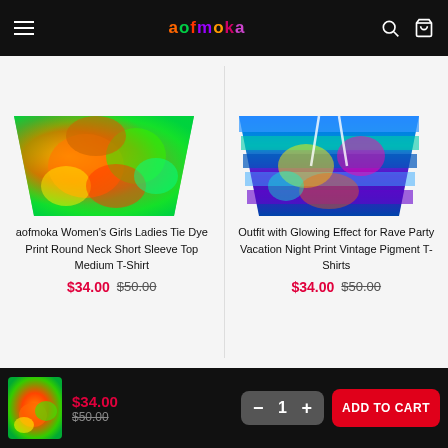aofmoka navigation bar
[Figure (photo): Colorful tie-dye print t-shirt product image with orange, green, and yellow psychedelic pattern]
aofmoka Women's Girls Ladies Tie Dye Print Round Neck Short Sleeve Top Medium T-Shirt
$34.00 $50.00
[Figure (photo): Colorful outfit with glowing effect, blue, green, yellow and purple rave style print]
Outfit with Glowing Effect for Rave Party Vacation Night Print Vintage Pigment T-Shirts
$34.00 $50.00
$34.00 $50.00 – 1 + ADD TO CART